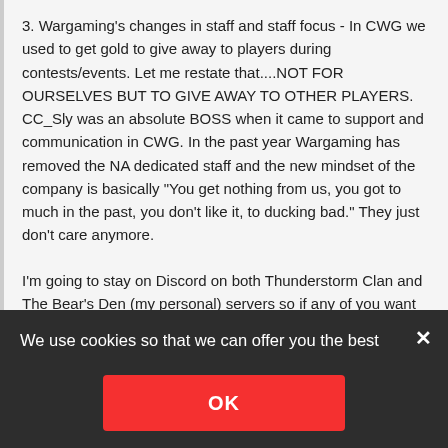3. Wargaming's changes in staff and staff focus - In CWG we used to get gold to give away to players during contests/events. Let me restate that....NOT FOR OURSELVES BUT TO GIVE AWAY TO OTHER PLAYERS.  CC_Sly was an absolute BOSS when it came to support and communication in CWG.  In the past year Wargaming has removed the NA dedicated staff and the new mindset of the company is basically "You get nothing from us, you got to much in the past, you don't like it, to ducking bad."  They just don't care anymore.
I'm going to stay on Discord on both Thunderstorm Clan and The Bear's Den (my personal) servers so if any of you want to contact me you can do it there.
We use cookies so that we can offer you the best possible website content and experience. Privacy Policy